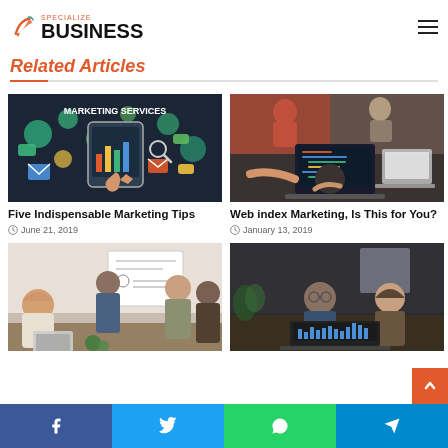Beny Wills
Specialize Business
Related Articles
[Figure (photo): Marketing Services illustration — dark background with colorful icons and a hand touching a tablet, text reads MARKETING SERVICES]
Five Indispensable Marketing Tips
June 21, 2019
[Figure (photo): Office workers collaborating around laptops with code on screen]
Web index Marketing, Is This for You?
January 13, 2019
[Figure (photo): Business meeting with people around a whiteboard]
[Figure (photo): Two people in a dark office discussing over a laptop showing charts]
Facebook | Twitter | WhatsApp | Telegram